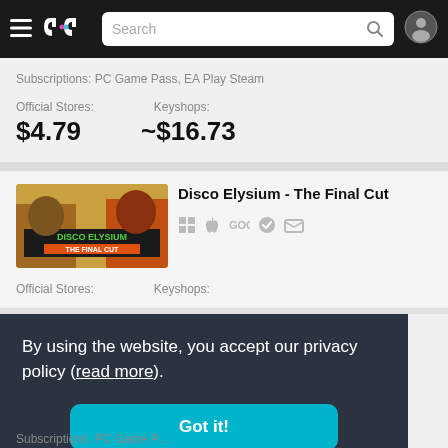GG — navigation bar with hamburger, logo, search, user icon
Subscriptions: PC Game Pass, EA Play Steam
Official Stores: $4.79   Keyshops: ~$16.73
[Figure (screenshot): Disco Elysium - The Final Cut game cover art thumbnail]
Disco Elysium - The Final Cut
Platform icons: Windows, Mac, GOG, DRM-free, email
Official Stores:   Keyshops:
By using the website, you accept our privacy policy (read more).
Got it!
Subscriptions: PC Game P...